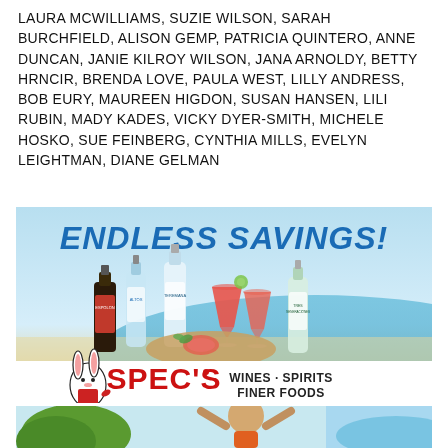LAURA MCWILLIAMS, SUZIE WILSON, SARAH BURCHFIELD, ALISON GEMP, PATRICIA QUINTERO, ANNE DUNCAN, JANIE KILROY WILSON, JANA ARNOLDY, BETTY HRNCIR, BRENDA LOVE, PAULA WEST, LILLY ANDRESS, BOB EURY, MAUREEN HIGDON, SUSAN HANSEN, LILI RUBIN, MADY KADES, VICKY DYER-SMITH, MICHELE HOSKO, SUE FEINBERG, CYNTHIA MILLS, EVELYN LEIGHTMAN, DIANE GELMAN
[Figure (infographic): Spec's Wines Spirits Finer Foods advertisement showing bottles of spirits, cocktails on a beach background with text 'ENDLESS SAVINGS!' and the Spec's logo with a rabbit mascot.]
[Figure (photo): Partial photo at bottom showing what appears to be a person and greenery/outdoor scene.]